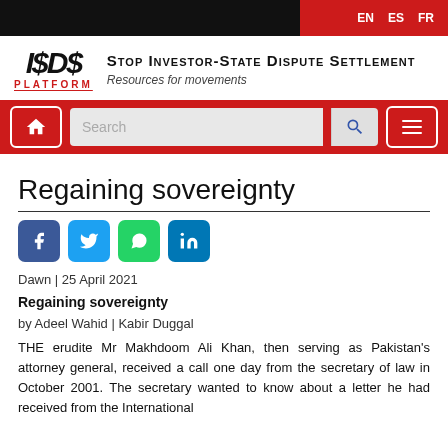EN  ES  FR
[Figure (logo): ISDS Platform logo with stylized text '$D$' and 'PLATFORM' in red, alongside 'Stop Investor-State Dispute Settlement — Resources for movements']
[Figure (screenshot): Navigation bar with home icon, search box, and hamburger menu on red background]
Regaining sovereignty
[Figure (other): Social share buttons: Facebook, Twitter, WhatsApp, LinkedIn]
Dawn | 25 April 2021
Regaining sovereignty
by Adeel Wahid | Kabir Duggal
THE erudite Mr Makhdoom Ali Khan, then serving as Pakistan's attorney general, received a call one day from the secretary of law in October 2001. The secretary wanted to know about a letter he had received from the International